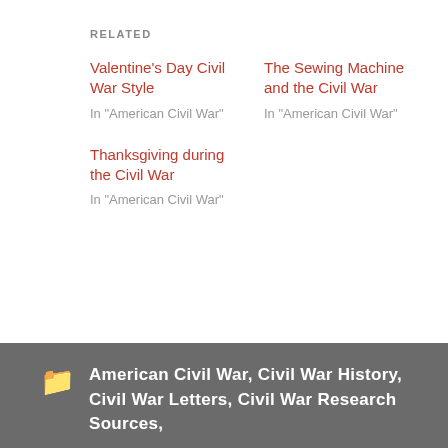RELATED
Valentine's Day Civil War Style
In "American Civil War"
The Sewing Machine and the Civil War
In "American Civil War"
Thanksgiving during the Civil War
In "American Civil War"
American Civil War, Civil War History, Civil War Letters, Civil War Research Sources,
Privacy & Cookies: This site uses cookies. By continuing to use this website, you agree to their use.
To find out more, including how to control cookies, see here: Cookie Policy
Close and accept